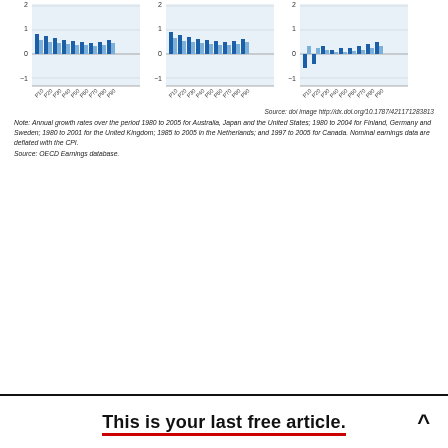[Figure (bar-chart): Three bar charts showing annual growth rates, with bars in dark blue and light blue, y-axis from -1 to approximately 2, x-axis showing years from P10 to P90]
Source: doi image http://dx.doi.org/10.1787/421171283813
Note: Annual growth rates over the period 1980 to 2005 for Australia, Japan and the United States; 1980 to 2004 for Finland, Germany and Sweden; 1980 to 2001 for the United Kingdom; 1985 to 2005 in the Netherlands; and 1997 to 2005 for Canada. Nominal earnings data are deflated with the CPI.
Source: OECD Earnings database.
This is your last free article.